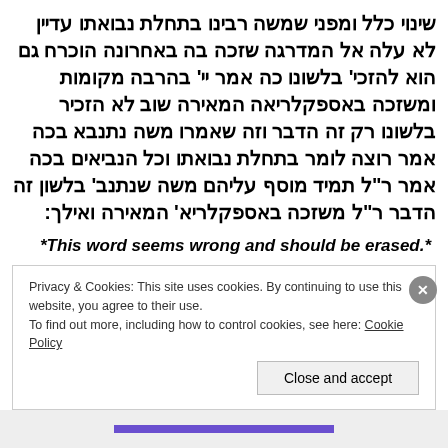שינוי כלל ומפני שמשה רבינו בתחלת נבואתו עדיין לא עלה אל המדרגה שזכה בה באחרונה הוכרח גם הוא להזכי' בלשונו כה אמר יי' בהרבה מקומות ומשזכה באספקלריאה המאירה שוב לא הזכיר בלשונו רק זה הדבר וזה שאמרו משה נתנבא בכה אמר רוצה לומר בתחלת נבואתו וכל הנביאים בכה אמר ר"ל תמיד מוסף עליהם משה שנתנב' בלשון זה הדבר ר"ל משזכה באספקלריא' המאירה ואילך:
*This word seems wrong and should be erased.*
Privacy & Cookies: This site uses cookies. By continuing to use this website, you agree to their use.
To find out more, including how to control cookies, see here: Cookie Policy